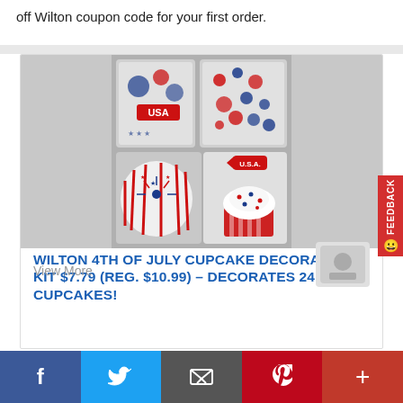off Wilton coupon code for your first order.
[Figure (photo): Wilton 4th of July Cupcake Decorating Kit product photo showing red, white and blue decorating items including cupcake liners, sprinkles, and a decorated cupcake with USA flag pick]
WILTON 4TH OF JULY CUPCAKE DECORATING KIT $7.79 (REG. $10.99) – DECORATES 24 CUPCAKES!
$7.79  $10.99
View More